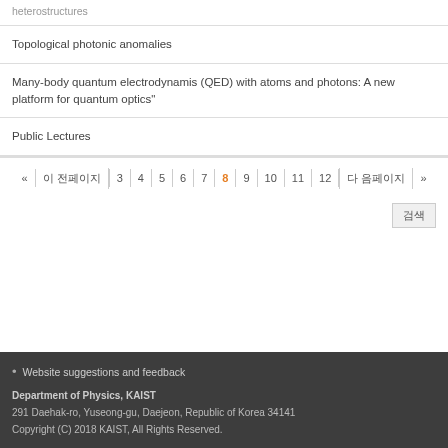heterostructures
Topological photonic anomalies
Many-body quantum electrodynamis (QED) with atoms and photons: A new platform for quantum optics"
Public Lectures
« 이 전페이지  3  4  5  6  7  8  9  10  11  12  다 음페이지 »
검색
Website suggestions and feedback
Department of Physics, KAIST
291 Daehak-ro, Yuseong-gu, Daejeon, Republic of Korea 34141
Copyright (C) 2018 KAIST, All Rights Reserved.